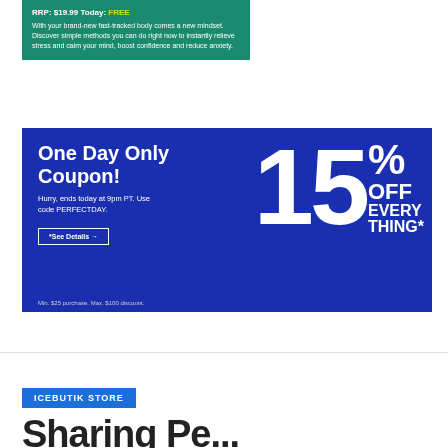[Figure (infographic): Green promotional banner with price and free offer text. Says 'RRP: $19.99 Today: FREE' with description about fast-tracked body and mindset, stress relief, confidence boosting.]
[Figure (infographic): Blue coupon banner reading 'One Day Only Coupon! Hurry, ends today at 9pm PT. Use code PERFECTDAY.' with large '15% OFF EVERYTHING*' text and 'See Details' button. Fine print: Min. $25 purchase. Max. $100 discount.]
ICEBUTIK STORE
Sharing Personalized...